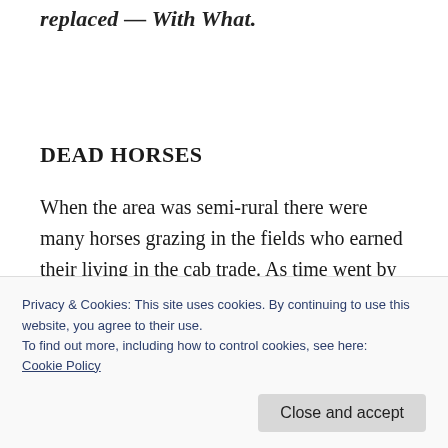replaced — With What.
DEAD HORSES
When the area was semi-rural there were many horses grazing in the fields who earned their living in the cab trade. As time went by many of the horses to be seen in the fields were actually
Privacy & Cookies: This site uses cookies. By continuing to use this website, you agree to their use.
To find out more, including how to control cookies, see here:
Cookie Policy
Close and accept
used the patent killer on himself.